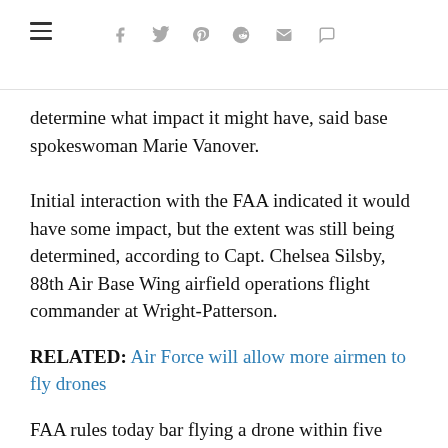— [navigation bar with hamburger menu and social icons: f twitter pinterest reddit mail comment]
determine what impact it might have, said base spokeswoman Marie Vanover.
Initial interaction with the FAA indicated it would have some impact, but the extent was still being determined, according to Capt. Chelsea Silsby, 88th Air Base Wing airfield operations flight commander at Wright-Patterson.
RELATED: Air Force will allow more airmen to fly drones
FAA rules today bar flying a drone within five miles of an airfield. Wright-Patterson has two, a main